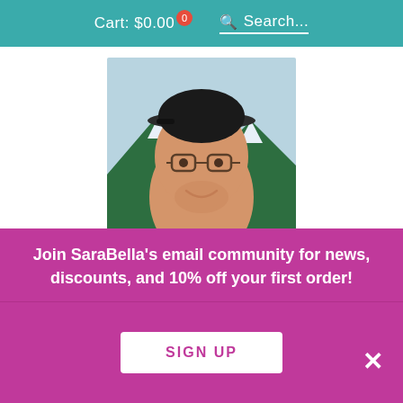Cart: $0.00  0  Search...
[Figure (photo): Headshot of Andrew Miller, a young man wearing glasses and a cap, outdoors with trees and mountains in background]
Andrew Miller
Research + Marketing Intern
Andrew Miller attends University of Colorado's MBA program, focusing on Entrepreneurship. He has experience in environmental sustainability
Join SaraBella's email community for news, discounts, and 10% off your first order!
SIGN UP